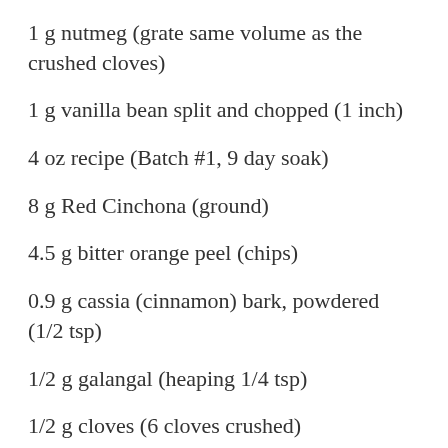1 g nutmeg (grate same volume as the crushed cloves)
1 g vanilla bean split and chopped (1 inch)
4 oz recipe (Batch #1, 9 day soak)
8 g Red Cinchona (ground)
4.5 g bitter orange peel (chips)
0.9 g cassia (cinnamon) bark, powdered (1/2 tsp)
1/2 g galangal (heaping 1/4 tsp)
1/2 g cloves (6 cloves crushed)
1/2 g nutmeg (grate same volume as the crushed cloves)
1/4 to 1/2 g vanilla bean split (1/3 inch)